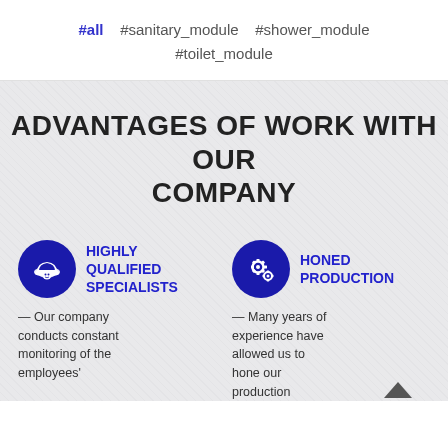#all   #sanitary_module   #shower_module   #toilet_module
ADVANTAGES OF WORK WITH OUR COMPANY
HIGHLY QUALIFIED SPECIALISTS — Our company conducts constant monitoring of the employees'
HONED PRODUCTION — Many years of experience have allowed us to hone our production